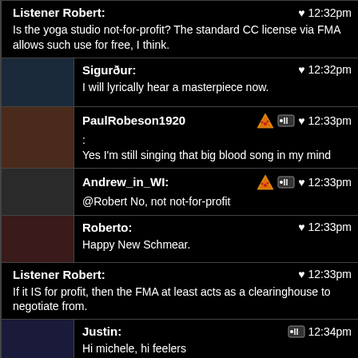Listener Robert: ♥ 12:32pm — Is the yoga studio not-for-profit? The standard CC license via FMA allows such use for free, I think.
[Figure (photo): Avatar for Sigurður]
Sigurður: ♥ 12:32pm — I will lyrically hear a masterpiece now.
[Figure (photo): Avatar for PaulRobeson1920]
PaulRobeson1920: 🍕 🔇 ♥ 12:33pm — Yes I'm still singing that big blood song in my mind
[Figure (photo): Avatar for Andrew_in_WI]
Andrew_in_WI: 🍕 🔇 ♥ 12:33pm — @Robert No, not not-for-profit
[Figure (photo): Avatar for Roberto]
Roberto: ♥ 12:33pm — Happy New Schmear.
Listener Robert: ♥ 12:33pm — If it IS for profit, then the FMA at least acts as a clearinghouse to negotiate from.
[Figure (photo): Avatar for Justin]
Justin: 🔇 12:34pm — Hi michele, hi feelers